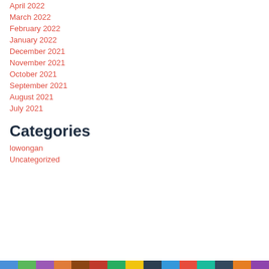April 2022
March 2022
February 2022
January 2022
December 2021
November 2021
October 2021
September 2021
August 2021
July 2021
Categories
lowongan
Uncategorized